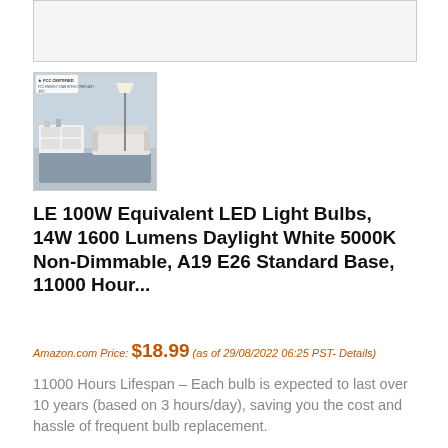[Figure (photo): Top placeholder image area, light gray rectangle]
[Figure (photo): Thumbnail product photo showing a living room interior with a floor lamp, white furniture, and FCC Certified badge in the top-left corner]
LE 100W Equivalent LED Light Bulbs, 14W 1600 Lumens Daylight White 5000K Non-Dimmable, A19 E26 Standard Base, 11000 Hour...
Amazon.com Price: $18.99 (as of 29/08/2022 06:25 PST- Details)
11000 Hours Lifespan – Each bulb is expected to last over 10 years (based on 3 hours/day), saving you the cost and hassle of frequent bulb replacement.